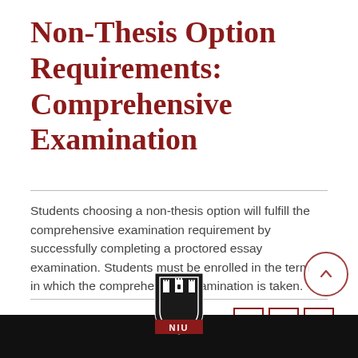Non-Thesis Option Requirements: Comprehensive Examination
Students choosing a non-thesis option will fulfill the comprehensive examination requirement by successfully completing a proctored essay examination. Students must be enrolled in the term in which the comprehensive examination is taken.
[Figure (logo): NIU (Northern Illinois University) shield logo at bottom center, partially visible above a black bar footer]
[Figure (other): Three small icon buttons (document, print, help/question mark) in red border boxes at bottom right]
[Figure (other): Circular back-to-top button with upward chevron in red outline, overlapping the body text at right]